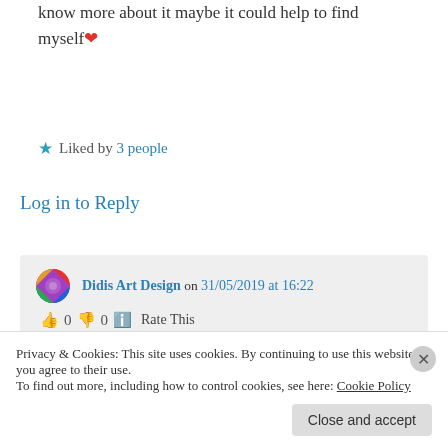know more about it maybe it could help to find myself❤
★ Liked by 3 people
Log in to Reply
Didis Art Design on 31/05/2019 at 16:22
👍 0 👎 0 ℹ Rate This
Dear Ilona,
Privacy & Cookies: This site uses cookies. By continuing to use this website, you agree to their use.
To find out more, including how to control cookies, see here: Cookie Policy
Close and accept